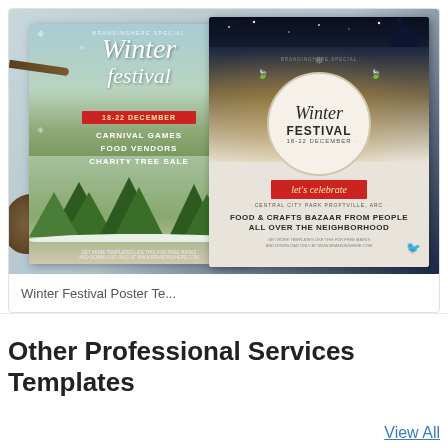[Figure (illustration): Winter Festival Poster Template preview showing two poster designs side by side: a light teal/blue poster on the left with 'Winter Festival' script text, red ribbon banner with dates 18-22 December, carnival games food vendors charity tree sale text, pine trees and a robin bird; a dark night sky/white poster on the right with 'Winter Festival' text in a circular badge, red ribbon with 'let's celebrate', food and crafts bazaar text, and a robin bird]
Winter Festival Poster Te...
Other Professional Services Templates
View All